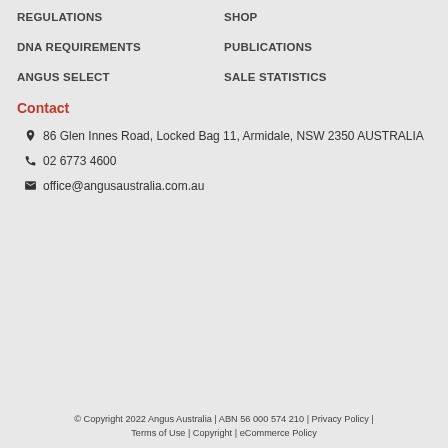REGULATIONS
SHOP
DNA REQUIREMENTS
PUBLICATIONS
ANGUS SELECT
SALE STATISTICS
Contact
86 Glen Innes Road, Locked Bag 11, Armidale, NSW 2350 AUSTRALIA
02 6773 4600
office@angusaustralia.com.au
© Copyright 2022 Angus Australia | ABN 56 000 574 210 | Privacy Policy | Terms of Use | Copyright | eCommerce Policy